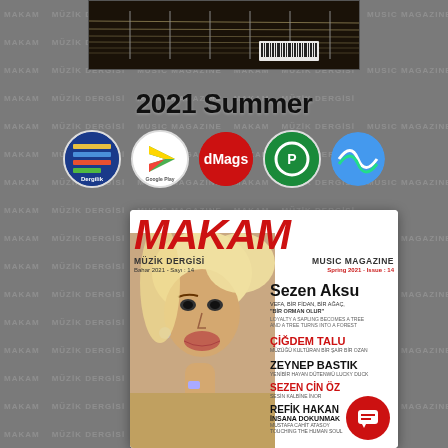[Figure (photo): Background collage of MAKAM magazine covers in grayscale]
[Figure (photo): Guitar close-up photo strip at top]
2021 Summer
[Figure (logo): App store logos row: Dergilik, Google Play, dMags, Pread, Magzter]
[Figure (photo): MAKAM Music Magazine cover - Spring 2021 Issue 14, featuring Sezen Aksu on cover with text: MÜZİK DERGİSİ MUSIC MAGAZINE, Bahar 2021 - Sayı: 14, Spring 2021 - Issue: 14, Sezen Aksu, VEFA, BİR FİDAN, BİR AĞAÇ, "BİR ORMAN OLUR", LOYALTY A SAPLING BECOMES A TREE AND A TREE TURNS INTO A FOREST, ÇİĞDEM TALU, MÜZÜĞÜ KULTÜRAN BİR ŞAİR BİR OZAN, ZEYNEP BASTIK, YENİBİR HAYAN DÜTENWÜ LUCKY DUCK, SEZEN CİN ÖZ, SESİN KALBİNE İNOR, REFİK HAKAN, İNSANA DOKUNMAK, MUSTAFA CAHİT ATASOY, TOUCHING THE HUMAN SOUL]